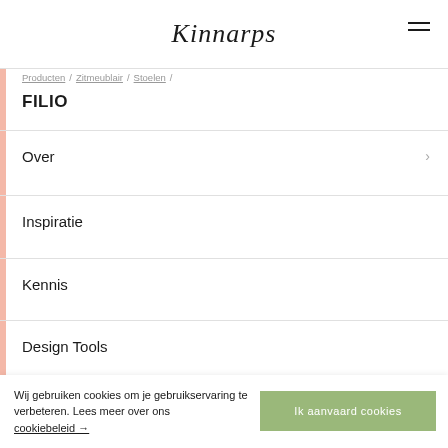Kinnarps
Producten / Zitmeublair / Stoelen /
FILIO
Over
Inspiratie
Kennis
Design Tools
[Figure (illustration): Social media icons row: Facebook, Pinterest, Instagram, Twitter, LinkedIn — all in salmon/pink color]
Wij gebruiken cookies om je gebruikservaring te verbeteren. Lees meer over ons cookiebeleid →
Ik aanvaard cookies